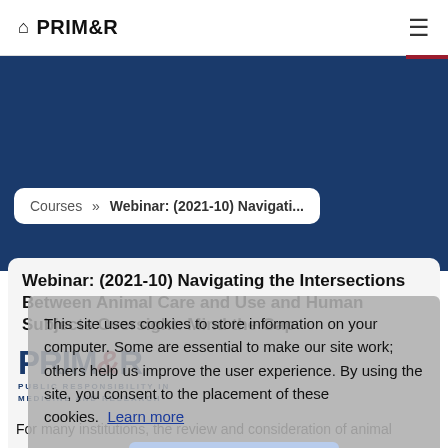🏠 PRIM&R
Courses » Webinar: (2021-10) Navigati...
Webinar: (2021-10) Navigating the Intersections Between Animal Care and Use and Human Subjects Oversight: Mind the Gap
This site uses cookies to store information on your computer. Some are essential to make our site work; others help us improve the user experience. By using the site, you consent to the placement of these cookies. Learn more
Agree & Dismiss
[Figure (logo): PRIM&R logo with text PUBLIC RESPONSIBILITY IN MEDICINE AND RESEARCH]
For many institutions, the review and consideration of animal